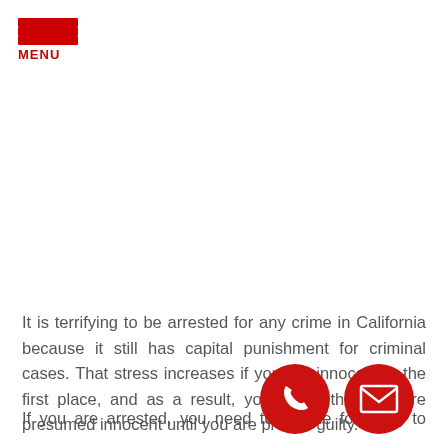MENU
It is terrifying to be arrested for any crime in California because it still has capital punishment for criminal cases. That stress increases if you are innocent in the first place, and as a result, you forget that you are presumed innocent until you are proven guilty.
If you are arrested, you need to do the following to ensure